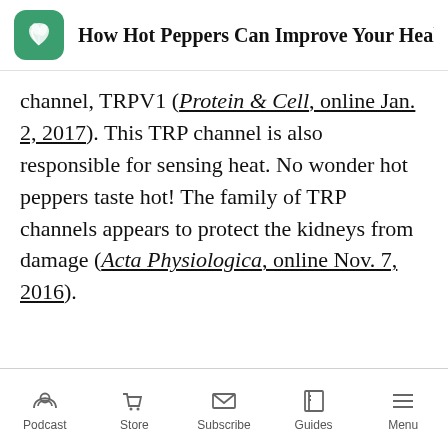How Hot Peppers Can Improve Your Health and E...
channel, TRPV1 (Protein & Cell, online Jan. 2, 2017). This TRP channel is also responsible for sensing heat. No wonder hot peppers taste hot! The family of TRP channels appears to protect the kidneys from damage (Acta Physiologica, online Nov. 7, 2016).
Podcast | Store | Subscribe | Guides | Menu